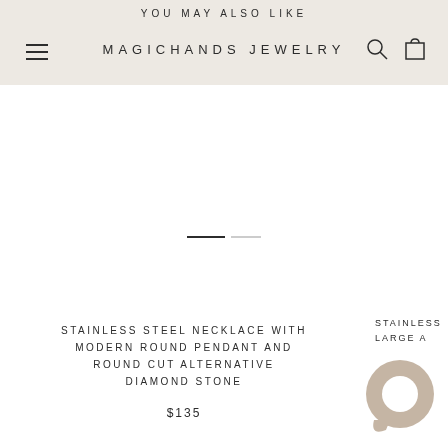YOU MAY ALSO LIKE
MAGICHANDS JEWELRY
STAINLESS STEEL NECKLACE WITH MODERN ROUND PENDANT AND ROUND CUT ALTERNATIVE DIAMOND STONE
$135
STAINLESS LARGE A